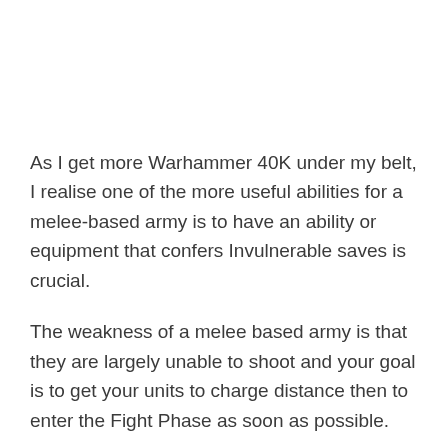As I get more Warhammer 40K under my belt, I realise one of the more useful abilities for a melee-based army is to have an ability or equipment that confers Invulnerable saves is crucial.
The weakness of a melee based army is that they are largely unable to shoot and your goal is to get your units to charge distance then to enter the Fight Phase as soon as possible.
What is an Invulnerable Save?